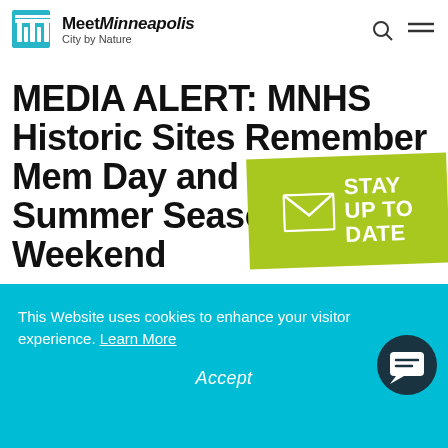Meet Minneapolis — City by Nature
MEDIA ALERT: MNHS Historic Sites Remember Memorial Day and Kick Off Summer Season This Weekend
[Figure (infographic): Green badge with envelope icon and text 'STAY UP TO DATE']
This Website uses cookies to enhance your visitor experience. Learn More
Accept